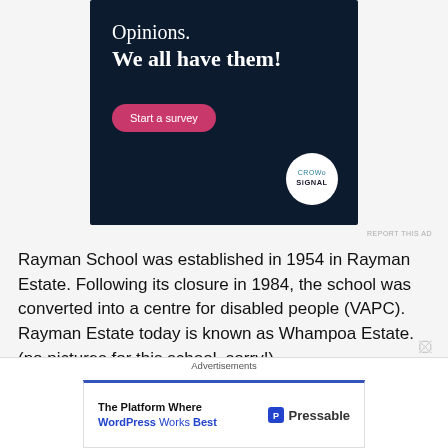[Figure (advertisement): Dark navy blue advertisement banner with text 'Opinions. We all have them!' a pink 'Start a survey' button and Crowdsignal logo]
REPORT THIS AD
Rayman School was established in 1954 in Rayman Estate. Following its closure in 1984, the school was converted into a centre for disabled people (VAPC). Rayman Estate today is known as Whampoa Estate. (no pictures for this school, sorry!)
Advertisements
[Figure (advertisement): Pressable advertisement: 'The Platform Where WordPress Works Best' with Pressable logo]